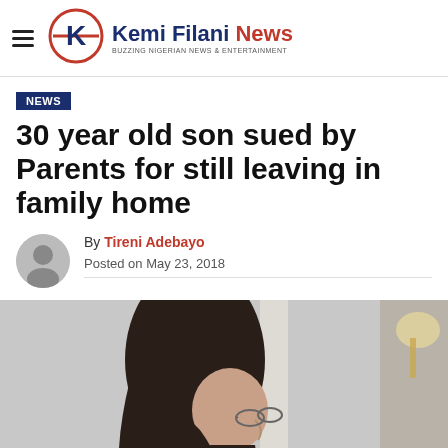Kemi Filani News — BUZZING NIGERIAN NEWS & ENTERTAINMENT
NEWS
30 year old son sued by Parents for still leaving in family home
By Tireni Adebayo
Posted on May 23, 2018
[Figure (photo): A man with long dark hair and glasses, viewed from the side, in an interior setting with white columns and a lamp visible in the background.]